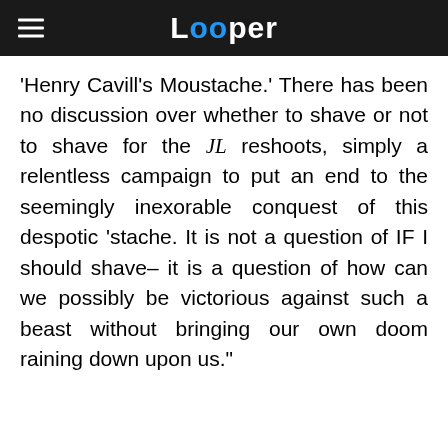Looper
'Henry Cavill's Moustache.' There has been no discussion over whether to shave or not to shave for the JL reshoots, simply a relentless campaign to put an end to the seemingly inexorable conquest of this despotic 'stache. It is not a question of IF I should shave– it is a question of how can we possibly be victorious against such a beast without bringing our own doom raining down upon us."